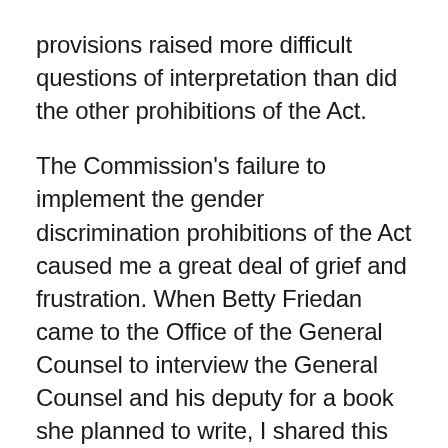provisions raised more difficult questions of interpretation than did the other prohibitions of the Act.
The Commission's failure to implement the gender discrimination prohibitions of the Act caused me a great deal of grief and frustration. When Betty Friedan came to the Office of the General Counsel to interview the General Counsel and his deputy for a book she planned to write, I shared this frustration with her. I told her that what this country needed was an organization to fight for women like the NAACP fought for its constituency.